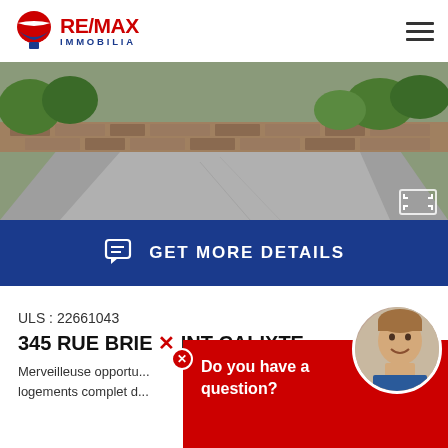[Figure (logo): RE/MAX IMMOBILIA logo with hot air balloon icon in red, white and blue]
[Figure (photo): Exterior property photo showing a driveway/road with stone retaining wall and green trees in background]
GET MORE DETAILS
ULS : 22661043
345 RUE BRIE... INT-CALIXTE...
Merveilleuse opportu... logements complet d...
[Figure (photo): Agent headshot photo of smiling man with short hair]
Do you have a question?